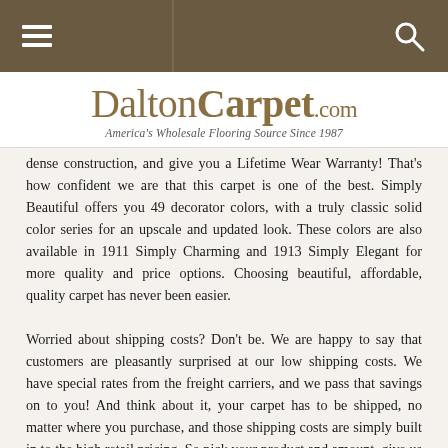DaltonCarpet.com — America's Wholesale Flooring Source Since 1987
dense construction, and give you a Lifetime Wear Warranty! That's how confident we are that this carpet is one of the best. Simply Beautiful offers you 49 decorator colors, with a truly classic solid color series for an upscale and updated look. These colors are also available in 1911 Simply Charming and 1913 Simply Elegant for more quality and price options. Choosing beautiful, affordable, quality carpet has never been easier.
Worried about shipping costs? Don't be. We are happy to say that customers are pleasantly surprised at our low shipping costs. We have special rates from the freight carriers, and we pass that savings on to you! And think about it, your carpet has to be shipped, no matter where you purchase, and those shipping costs are simply built in to the high retail pricing. So pick your product and amount, give us a call, and let us get